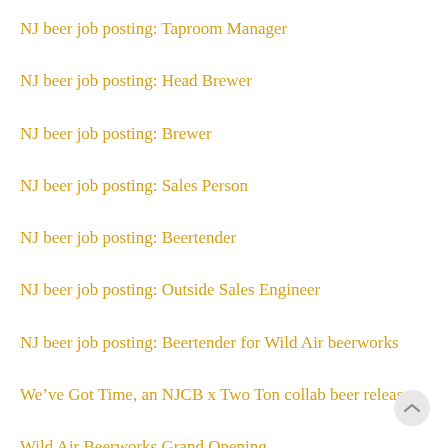NJ beer job posting: Taproom Manager
NJ beer job posting: Head Brewer
NJ beer job posting: Brewer
NJ beer job posting: Sales Person
NJ beer job posting: Beertender
NJ beer job posting: Outside Sales Engineer
NJ beer job posting: Beertender for Wild Air beerworks
We’ve Got Time, an NJCB x Two Ton collab beer release
Wild Air Beerworks Grand Opening
New Beer Release – FARM TRIBE II
NJ Brewery Running Series Boardwalk Run